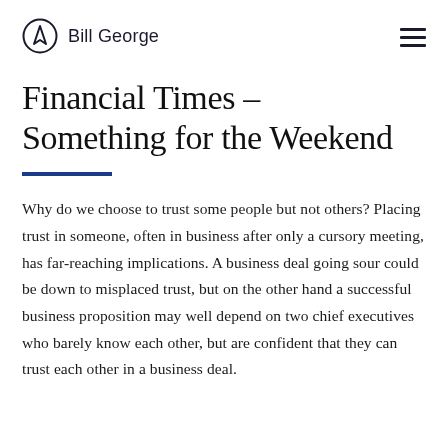Bill George
Financial Times – Something for the Weekend
Why do we choose to trust some people but not others? Placing trust in someone, often in business after only a cursory meeting, has far-reaching implications. A business deal going sour could be down to misplaced trust, but on the other hand a successful business proposition may well depend on two chief executives who barely know each other, but are confident that they can trust each other in a business deal.